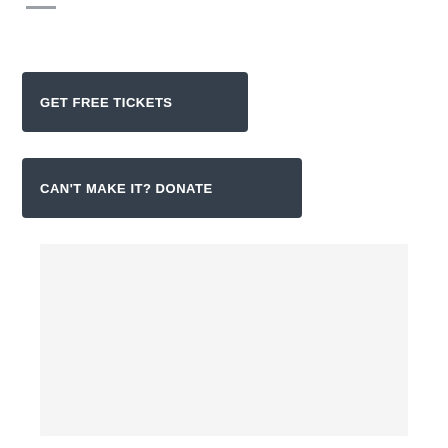[Figure (other): Small horizontal line/divider element near top left]
GET FREE TICKETS
CAN'T MAKE IT? DONATE
[Figure (other): Light gray rectangular block, likely an embedded content placeholder]